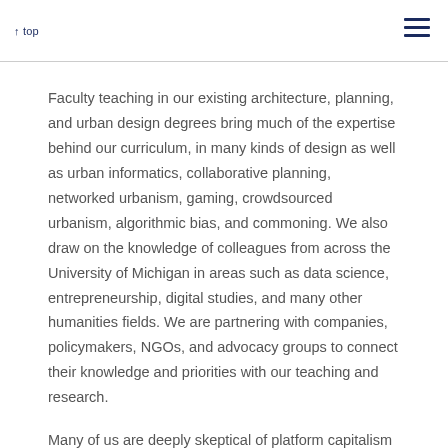↑ top
Faculty teaching in our existing architecture, planning, and urban design degrees bring much of the expertise behind our curriculum, in many kinds of design as well as urban informatics, collaborative planning, networked urbanism, gaming, crowdsourced urbanism, algorithmic bias, and commoning. We also draw on the knowledge of colleagues from across the University of Michigan in areas such as data science, entrepreneurship, digital studies, and many other humanities fields. We are partnering with companies, policymakers, NGOs, and advocacy groups to connect their knowledge and priorities with our teaching and research.
Many of us are deeply skeptical of platform capitalism and the infrastructures, armatures, and interfaces through which it shapes cities, buildings, and communities. But we see the opportunity and need for research and teaching that center on the intersection of